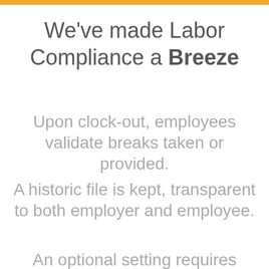We've made Labor Compliance a Breeze
Upon clock-out, employees validate breaks taken or provided.
A historic file is kept, transparent to both employer and employee.
An optional setting requires